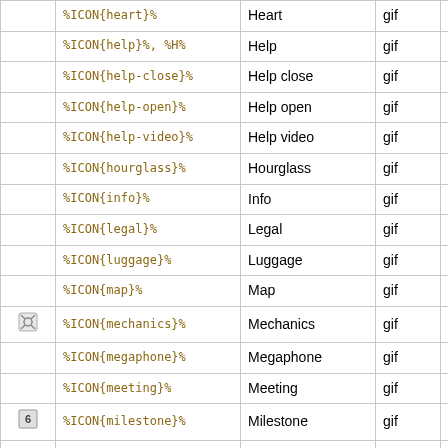| (icon) | Variable | Name | Type | Size |
| --- | --- | --- | --- | --- |
|  | %ICON{heart}% | Heart | gif | 16x16 |
|  | %ICON{help}%, %H% | Help | gif | 16x16 |
|  | %ICON{help-close}% | Help close | gif | 16x16 |
|  | %ICON{help-open}% | Help open | gif | 16x16 |
|  | %ICON{help-video}% | Help video | gif | 16x16 |
|  | %ICON{hourglass}% | Hourglass | gif | 16x16 |
|  | %ICON{info}% | Info | gif | 16x16 |
|  | %ICON{legal}% | Legal | gif | 16x16 |
|  | %ICON{luggage}% | Luggage | gif | 16x16 |
|  | %ICON{map}% | Map | gif | 16x16 |
| (wrench) | %ICON{mechanics}% | Mechanics | gif | 16x16 |
|  | %ICON{megaphone}% | Megaphone | gif | 16x16 |
|  | %ICON{meeting}% | Meeting | gif | 16x16 |
| (6) | %ICON{milestone}% | Milestone | gif | 16x16 |
|  | %ICON{milestone-add}% | Add milestone | gif | 16x16 |
| (arrow) | %ICON{mission}% | Mission | gif | 16x16 |